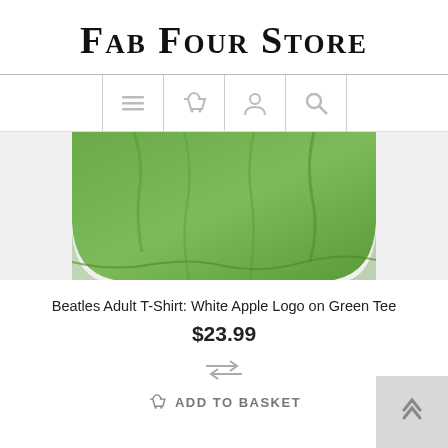Fab Four Store
[Figure (screenshot): Navigation bar with menu, basket, account, and search icons]
[Figure (photo): Bottom portion of a green Beatles adult t-shirt on white background]
Beatles Adult T-Shirt: White Apple Logo on Green Tee
$23.99
ADD TO BASKET